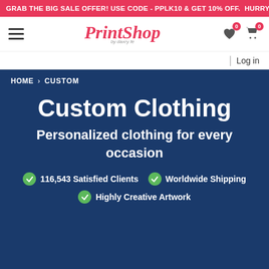GRAB THE BIG SALE OFFER! USE CODE - PPLK10 & GET 10% OFF. HURRY UP!!
[Figure (logo): PrintShop logo in red italic script with 'by daxry fe' subtitle]
Log in
HOME > CUSTOM
Custom Clothing
Personalized clothing for every occasion
116,543 Satisfied Clients
Worldwide Shipping
Highly Creative Artwork